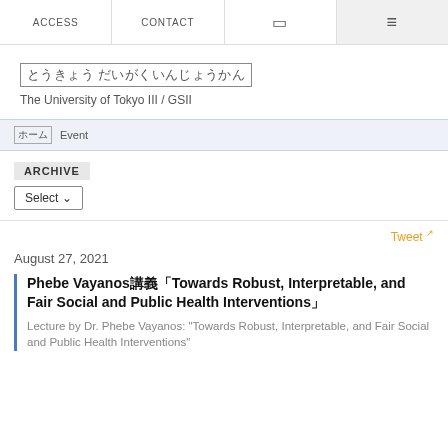ACCESS  CONTACT  ☐  ≡
東京大学 大学院情報学環 The University of Tokyo III / GSII
イベント Event
ARCHIVE
Select
Tweet
August 27, 2021
Phebe Vayanos講義「Towards Robust, Interpretable, and Fair Social and Public Health Interventions」
Lecture by Dr. Phebe Vayanos: "Towards Robust, Interpretable, and Fair Social and Public Health Interventions"